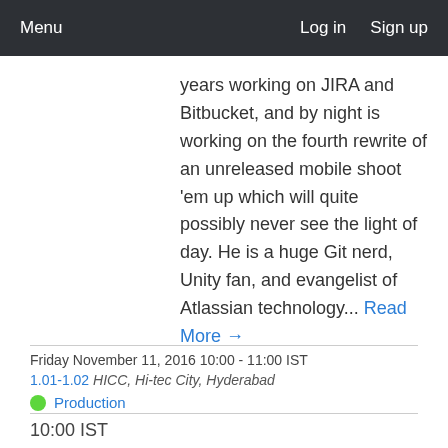Menu   Log in   Sign up
years working on JIRA and Bitbucket, and by night is working on the fourth rewrite of an unreleased mobile shoot 'em up which will quite possibly never see the light of day. He is a huge Git nerd, Unity fan, and evangelist of Atlassian technology... Read More →
Friday November 11, 2016 10:00 - 11:00 IST
1.01-1.02 HICC, Hi-tec City, Hyderabad
Production
10:00 IST